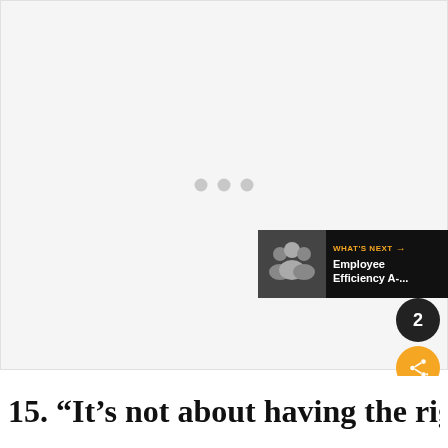[Figure (photo): Large image placeholder area with light gray background and three gray loading dots centered in the middle, indicating an image that has not loaded. Social interaction buttons (heart/like, count showing 2, share) are overlaid on the right side. A 'What's Next' banner showing 'Employee Efficiency A-...' appears in the bottom-right corner.]
15. “It’s not about having the right